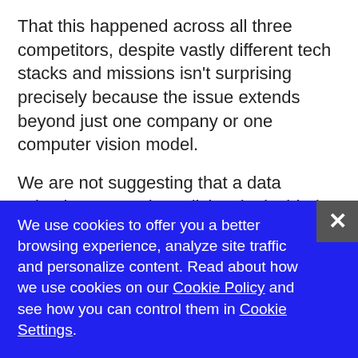That this happened across all three competitors, despite vastly different tech stacks and missions isn't surprising precisely because the issue extends beyond just one company or one computer vision model.
We are not suggesting that a data scientist at Google maliciously decided to train the computer vision model on twice
We use cookies to offer you a better browsing experience, analyze site traffic and personalize content. Read about how we use cookies on our Cookie Policy and see how you can control them in Cookie Settings.